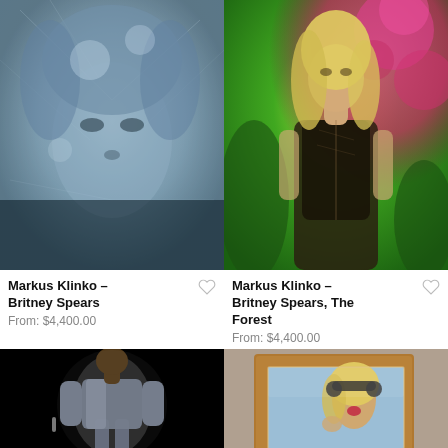[Figure (photo): Close-up artistic photo of a person behind blue icy glass or frost with blue hair, Markus Klinko – Britney Spears]
Markus Klinko – Britney Spears
From: $4,400.00
[Figure (photo): Britney Spears standing in a forest with vibrant pink and green foliage background wearing a dark outfit, Markus Klinko – Britney Spears, The Forest]
Markus Klinko – Britney Spears, The Forest
From: $4,400.00
[Figure (photo): Man in a shiny metallic suit standing on a dark stage with spotlight, partial view at bottom of page]
[Figure (photo): Framed photograph of a blonde woman with headphones in a wooden frame, partial view at bottom of page]